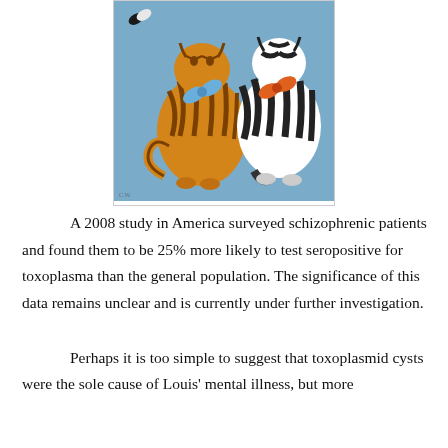[Figure (illustration): Illustration of two stylized cats viewed from behind — one orange with dark stripes wearing a blue bow, one black-and-white striped — against a blue background, in a folk art style. A small butterfly or bird appears in the upper left.]
A 2008 study in America surveyed schizophrenic patients and found them to be 25% more likely to test seropositive for toxoplasma than the general population. The significance of this data remains unclear and is currently under further investigation.
Perhaps it is too simple to suggest that toxoplasmid cysts were the sole cause of Louis' mental illness, but more